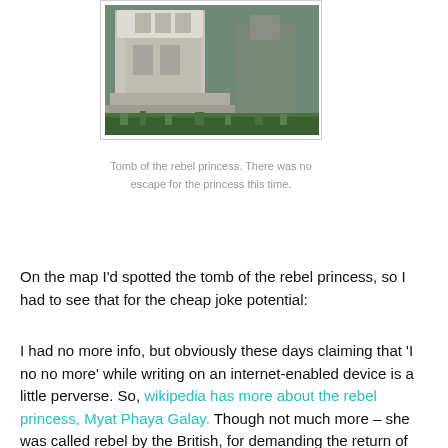[Figure (photo): Photograph of a stone tomb/grave surrounded by green grass, with ornate stone monument structures visible in the background.]
Tomb of the rebel princess. There was no escape for the princess this time.
On the map I'd spotted the tomb of the rebel princess, so I had to see that for the cheap joke potential:
I had no more info, but obviously these days claiming that 'I no no more' while writing on an internet-enabled device is a little perverse. So, wikipedia has more about the rebel princess, Myat Phaya Galay. Though not much more – she was called rebel by the British, for demanding the return of their stuff. Once there might have been a reason for the Brits to keep it but